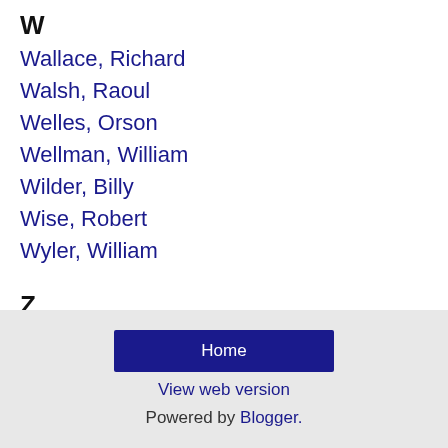W
Wallace, Richard
Walsh, Raoul
Welles, Orson
Wellman, William
Wilder, Billy
Wise, Robert
Wyler, William
Z
Zinnemann, Fred
Home | View web version | Powered by Blogger.